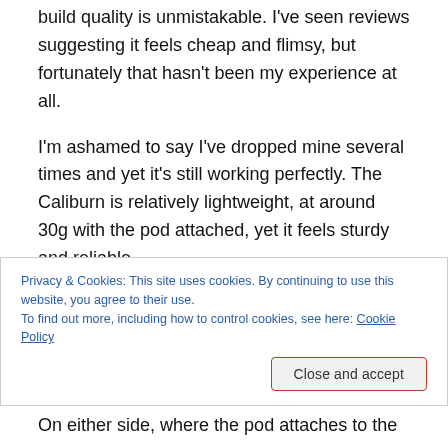build quality is unmistakable. I've seen reviews suggesting it feels cheap and flimsy, but fortunately that hasn't been my experience at all.
I'm ashamed to say I've dropped mine several times and yet it's still working perfectly. The Caliburn is relatively lightweight, at around 30g with the pod attached, yet it feels sturdy and reliable.
The battery section of the Caliburn has a single
Privacy & Cookies: This site uses cookies. By continuing to use this website, you agree to their use.
To find out more, including how to control cookies, see here: Cookie Policy
On either side, where the pod attaches to the